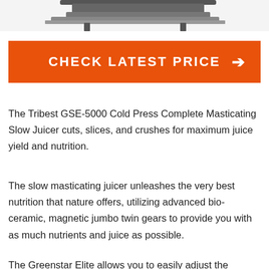[Figure (photo): Partial image of a juicer appliance visible at the top of the page, showing metal components against a white background.]
CHECK LATEST PRICE →
The Tribest GSE-5000 Cold Press Complete Masticating Slow Juicer cuts, slices, and crushes for maximum juice yield and nutrition.
The slow masticating juicer unleashes the very best nutrition that nature offers, utilizing advanced bio-ceramic, magnetic jumbo twin gears to provide you with as much nutrients and juice as possible.
The Greenstar Elite allows you to easily adjust the